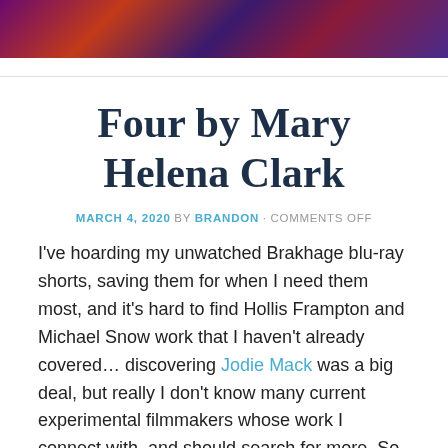[Figure (photo): Colorful abstract header image with dark purples, reds, and blues]
Four by Mary Helena Clark
MARCH 4, 2020 BY BRANDON · COMMENTS OFF
I've hoarding my unwatched Brakhage blu-ray shorts, saving them for when I need them most, and it's hard to find Hollis Frampton and Michael Snow work that I haven't already covered… discovering Jodie Mack was a big deal, but really I don't know many current experimental filmmakers whose work I connect with, and should search for more. So, among the recent best-of-decade lists, Michael Sicinski's roundup of